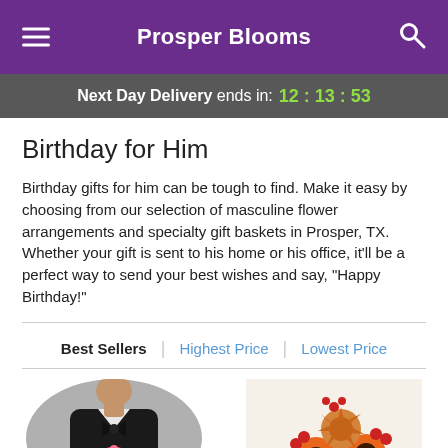Prosper Blooms
Next Day Delivery ends in: 12:13:53
Birthday for Him
Birthday gifts for him can be tough to find. Make it easy by choosing from our selection of masculine flower arrangements and specialty gift baskets in Prosper, TX. Whether your gift is sent to his home or his office, it'll be a perfect way to send your best wishes and say, "Happy Birthday!"
Best Sellers | Highest Price | Lowest Price
[Figure (photo): Man in black outfit holding a pink rose, circular crop]
[Figure (photo): Colorful flower bouquet with orange gerberas, red berries, and protea]